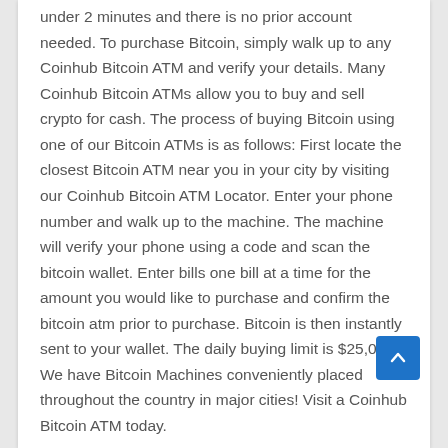under 2 minutes and there is no prior account needed. To purchase Bitcoin, simply walk up to any Coinhub Bitcoin ATM and verify your details. Many Coinhub Bitcoin ATMs allow you to buy and sell crypto for cash. The process of buying Bitcoin using one of our Bitcoin ATMs is as follows: First locate the closest Bitcoin ATM near you in your city by visiting our Coinhub Bitcoin ATM Locator. Enter your phone number and walk up to the machine. The machine will verify your phone using a code and scan the bitcoin wallet. Enter bills one bill at a time for the amount you would like to purchase and confirm the bitcoin atm prior to purchase. Bitcoin is then instantly sent to your wallet. The daily buying limit is $25,000. We have Bitcoin Machines conveniently placed throughout the country in major cities! Visit a Coinhub Bitcoin ATM today.
This Coinhub Bitcoin ATM located inside of AV Smoke